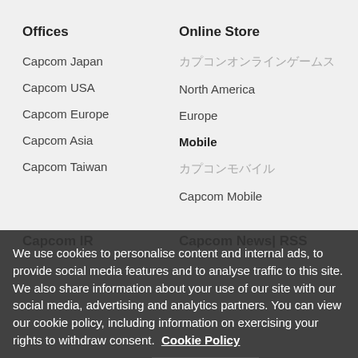Offices
Capcom Japan
Capcom USA
Capcom Europe
Capcom Asia
Capcom Taiwan
Online Store
カプコンオンラインゲームス
North America
Europe
Mobile
カプコンモバイル
Capcom Mobile
Capcom IR
Capcom News| RSS
We use cookies to personalise content and internal ads, to provide social media features and to analyse traffic to this site. We also share information about your use of our site with our social media, advertising and analytics partners. You can view our cookie policy, including information on exercising your rights to withdraw consent.
Cookie Policy
SETTINGS
I ACCEPT